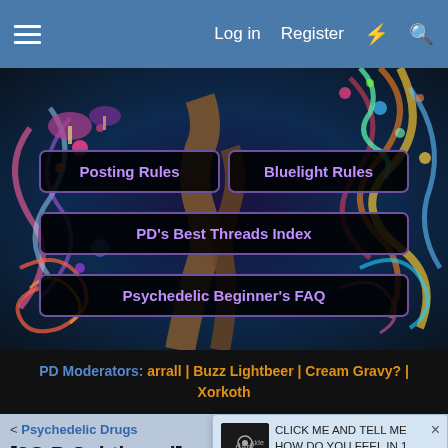Log in  Register
[Figure (illustration): Forum banner with psychedelic swirling artwork background (colorful swirls, tree, mushrooms). Overlaid navigation buttons: 'Posting Rules', 'Bluelight Rules', 'PD's Best Threads Index', 'Psychedelic Beginner's FAQ']
PD Moderators: arrall | Buzz Lightbeer | Cream Gravy? | Xorkoth
< Psychedelic Drugs
[2C-B Subthread] Dosage & Methods of Administration
CLICK ME AND TELL ME HOW DO YOU FEEL IN 1 WORD — Honestly, How Are You In One Word. Just 1